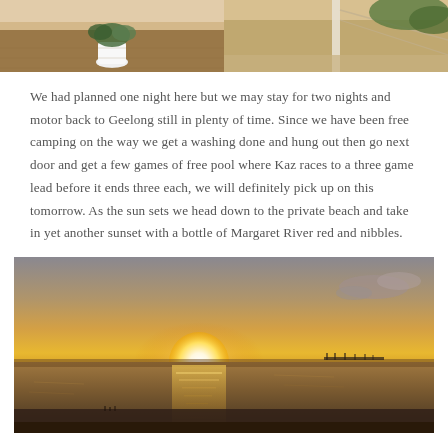[Figure (photo): Two side-by-side interior/outdoor photos at top of page showing floor and plant/foliage areas]
We had planned one night here but we may stay for two nights and motor back to Geelong still in plenty of time. Since we have been free camping on the way we get a washing done and hung out then go next door and get a few games of free pool where Kaz races to a three game lead before it ends three each, we will definitely pick up on this tomorrow. As the sun sets we head down to the private beach and take in yet another sunset with a bottle of Margaret River red and nibbles.
[Figure (photo): Beach sunset photo showing the sun setting over calm water with golden reflections, a pier visible in the distance on the right]